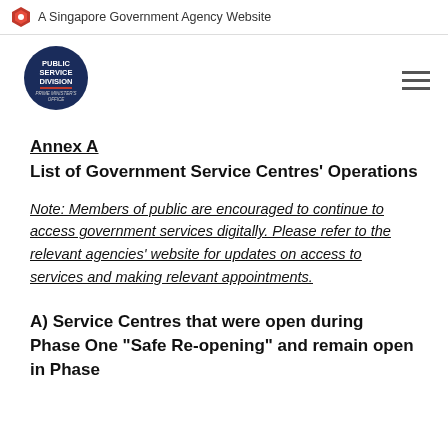A Singapore Government Agency Website
[Figure (logo): Public Service Division logo - circular dark blue badge with text]
Annex A
List of Government Service Centres' Operations
Note: Members of public are encouraged to continue to access government services digitally. Please refer to the relevant agencies' website for updates on access to services and making relevant appointments.
A) Service Centres that were open during Phase One “Safe Re-opening” and remain open in Phase